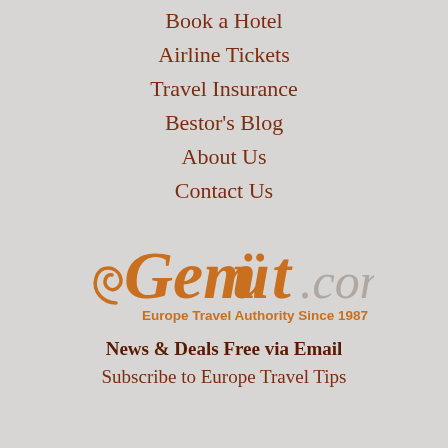Book a Hotel
Airline Tickets
Travel Insurance
Bestor's Blog
About Us
Contact Us
[Figure (logo): Gemüt.com logo with text 'Europe Travel Authority Since 1987']
News & Deals Free via Email
Subscribe to Europe Travel Tips